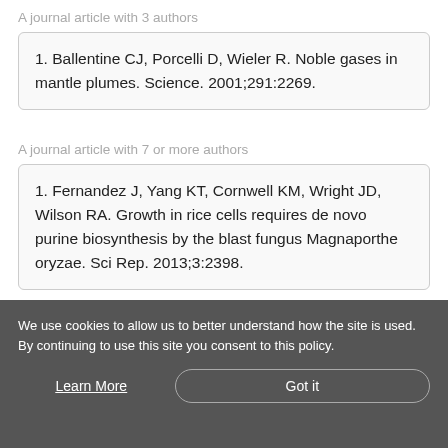A journal article with 3 authors
1. Ballentine CJ, Porcelli D, Wieler R. Noble gases in mantle plumes. Science. 2001;291:2269.
A journal article with 7 or more authors
1. Fernandez J, Yang KT, Cornwell KM, Wright JD, Wilson RA. Growth in rice cells requires de novo purine biosynthesis by the blast fungus Magnaporthe oryzae. Sci Rep. 2013;3:2398.
We use cookies to allow us to better understand how the site is used. By continuing to use this site you consent to this policy.
Learn More
Got it